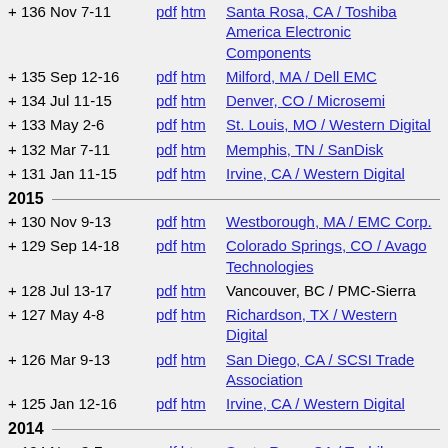+ 136 Nov 7-11  pdf htm  Santa Rosa, CA / Toshiba America Electronic Components
+ 135 Sep 12-16  pdf htm  Milford, MA / Dell EMC
+ 134 Jul 11-15  pdf htm  Denver, CO / Microsemi
+ 133 May 2-6  pdf htm  St. Louis, MO / Western Digital
+ 132 Mar 7-11  pdf htm  Memphis, TN / SanDisk
+ 131 Jan 11-15  pdf htm  Irvine, CA / Western Digital
2015
+ 130 Nov 9-13  pdf htm  Westborough, MA / EMC Corp.
+ 129 Sep 14-18  pdf htm  Colorado Springs, CO / Avago Technologies
+ 128 Jul 13-17  pdf htm  Vancouver, BC / PMC-Sierra
+ 127 May 4-8  pdf htm  Richardson, TX / Western Digital
+ 126 Mar 9-13  pdf htm  San Diego, CA / SCSI Trade Association
+ 125 Jan 12-16  pdf htm  Irvine, CA / Western Digital
2014
+ 124 Nov 3-7  pdf htm  Santa Rosa, CA / Toshiba America Electronic Components
+ 123 Sep 8-12  pdf htm  Westborough, MA / EMC Corp.
+ 122 Jul 14-18  pdf htm  Colorado Springs, CO / Avago Technologies